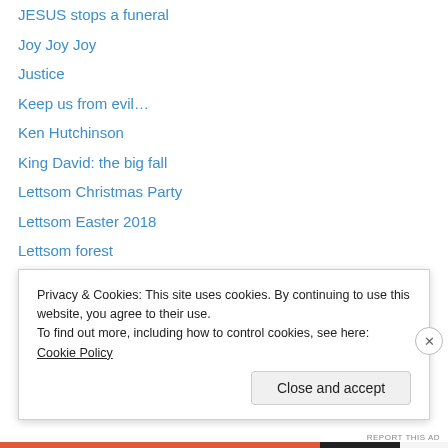JESUS stops a funeral
Joy Joy Joy
Justice
Keep us from evil…
Ken Hutchinson
King David: the big fall
Lettsom Christmas Party
Lettsom Easter 2018
Lettsom forest
Lettsom Inn Jan 2015
Lettsom Inn tonight…
Light in a dark world
Lip balm
Live the opposite life
Privacy & Cookies: This site uses cookies. By continuing to use this website, you agree to their use. To find out more, including how to control cookies, see here: Cookie Policy
Close and accept